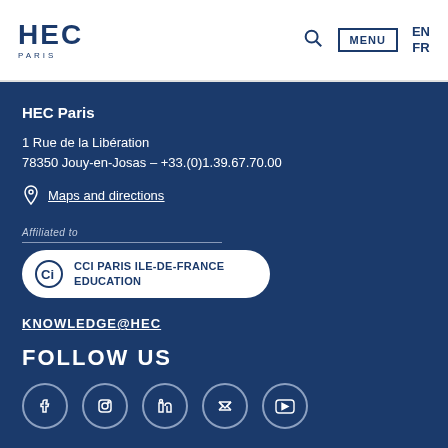HEC PARIS | MENU | EN FR
HEC Paris
1 Rue de la Libération
78350 Jouy-en-Josas – +33.(0)1.39.67.70.00
Maps and directions
Affiliated to
CCI PARIS ILE-DE-FRANCE EDUCATION
KNOWLEDGE@HEC
FOLLOW US
[Figure (other): Social media icons: Facebook, Instagram, LinkedIn, Twitter, YouTube]